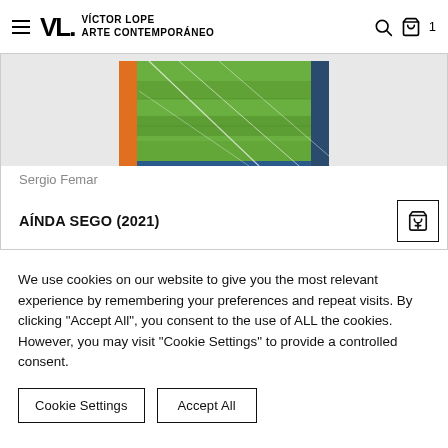VL. VÍCTOR LOPE ARTE CONTEMPORÁNEO
[Figure (photo): Partial view of abstract painting by Sergio Femar titled AÍNDA SEGO (2021), showing green, orange, blue tones with white linear marks over the surface.]
Sergio Femar
AÍNDA SEGO (2021)
We use cookies on our website to give you the most relevant experience by remembering your preferences and repeat visits. By clicking "Accept All", you consent to the use of ALL the cookies. However, you may visit "Cookie Settings" to provide a controlled consent.
Cookie Settings
Accept All